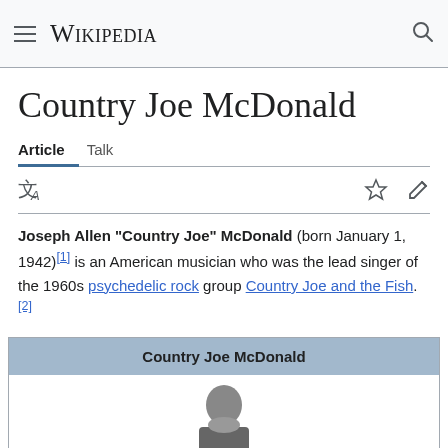Wikipedia
Country Joe McDonald
Article   Talk
Joseph Allen "Country Joe" McDonald (born January 1, 1942)[1] is an American musician who was the lead singer of the 1960s psychedelic rock group Country Joe and the Fish.[2]
| Country Joe McDonald |
| --- |
| [photo] |